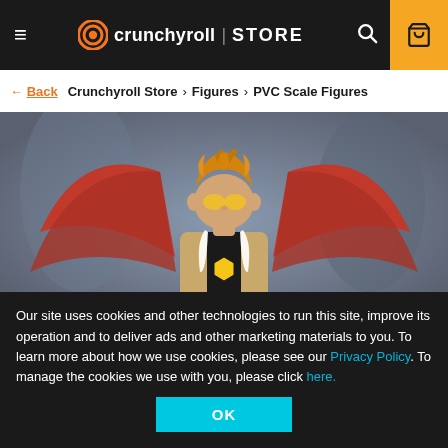Crunchyroll | STORE
← Back   Crunchyroll Store > Figures > PVC Scale Figures
[Figure (photo): Anime PVC scale figure of a character with orange/golden spiky hair, yellow-tinted glasses, a brown coat with white fur trim, black and yellow patterned shirt, and large red wings extending behind, photographed against a blurred gray background.]
Our site uses cookies and other technologies to run this site, improve its operation and to deliver ads and other marketing materials to you. To learn more about how we use cookies, please see our Privacy Policy. To manage the cookies we use with you, please click here.